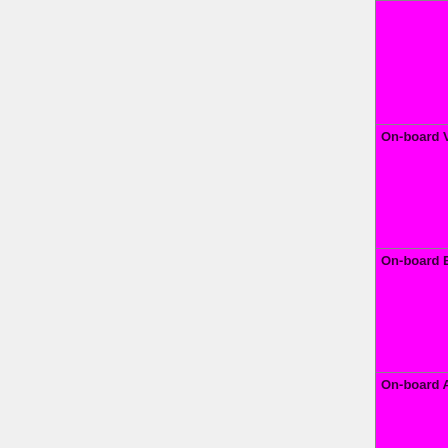| Feature | Status |
| --- | --- |
|  | No=red | WIP=orange Untested=yellow | N/A=lightgray yellow }}" | OK |
| On-board VGA | OK=lime | TODO=red | No=red | WIP=orange Untested=yellow | N/A=lightgray yellow }}" | N/A |
| On-board Ethernet | OK=lime | TODO=red | No=red | WIP=orange Untested=yellow | N/A=lightgray yellow }}" | OK |
| On-board Audio | OK=lime | TODO=red | No=red | WIP=orange |